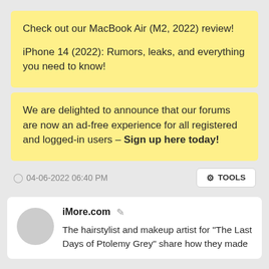Check out our MacBook Air (M2, 2022) review!

iPhone 14 (2022): Rumors, leaks, and everything you need to know!
We are delighted to announce that our forums are now an ad-free experience for all registered and logged-in users - Sign up here today!
04-06-2022 06:40 PM
TOOLS
iMore.com
The hairstylist and makeup artist for "The Last Days of Ptolemy Grey" share how they made